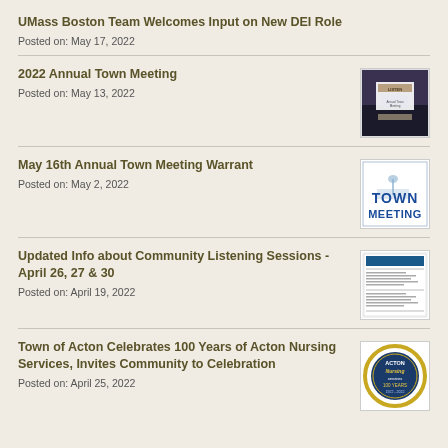UMass Boston Team Welcomes Input on New DEI Role
Posted on: May 17, 2022
2022 Annual Town Meeting
Posted on: May 13, 2022
[Figure (photo): 2022 Annual Town Meeting document cover]
May 16th Annual Town Meeting Warrant
Posted on: May 2, 2022
[Figure (illustration): Town Meeting text logo with landmark silhouette]
Updated Info about Community Listening Sessions - April 26, 27 & 30
Posted on: April 19, 2022
[Figure (photo): Community Listening Sessions document]
Town of Acton Celebrates 100 Years of Acton Nursing Services, Invites Community to Celebration
Posted on: April 25, 2022
[Figure (logo): Acton Nursing Services 100 Years badge/seal]